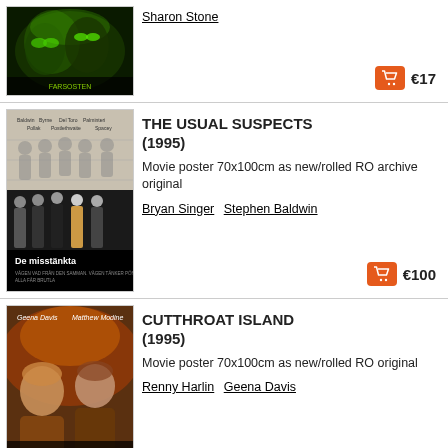[Figure (photo): Movie poster for a sci-fi film (Species or similar), green-tinted alien faces, Swedish title 'Farsosten']
Sharon Stone
€17
[Figure (photo): Movie poster for The Usual Suspects (1995), Swedish title 'De misstänkta', lineup of five men against a height chart background]
THE USUAL SUSPECTS (1995)
Movie poster 70x100cm as new/rolled RO archive original
Bryan Singer  Stephen Baldwin
€100
[Figure (photo): Movie poster for Cutthroat Island (1995), two actors Geena Davis and Matthew Modine on dramatic adventure background]
CUTTHROAT ISLAND (1995)
Movie poster 70x100cm as new/rolled RO original
Renny Harlin  Geena Davis